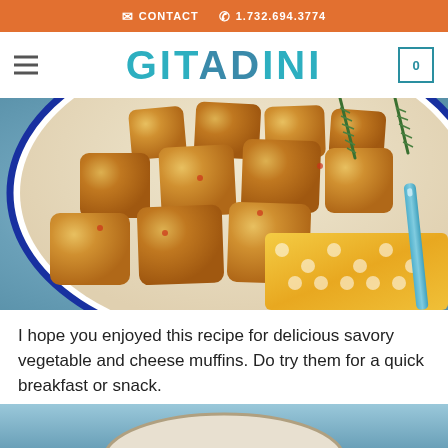CONTACT  1.732.694.3774
GITADINI
[Figure (photo): A white bowl with blue rim filled with golden savory vegetable and cheese muffin pieces, garnished with rosemary sprigs, on a blue surface with a yellow polka-dot cloth and a light blue pen beside the bowl.]
I hope you enjoyed this recipe for delicious savory vegetable and cheese muffins. Do try them for a quick breakfast or snack.
[Figure (photo): Partial view of another food photograph at the bottom of the page, showing a blue and white background.]